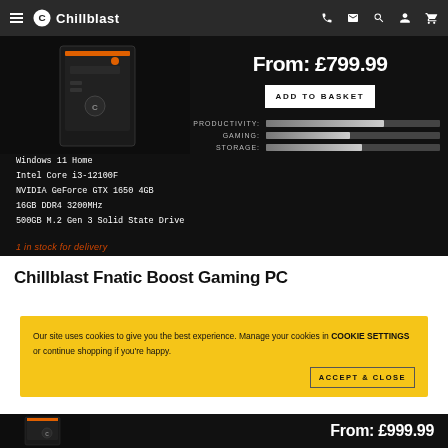Chillblast — navigation bar
[Figure (photo): PC tower product image — dark gaming desktop PC on black background]
From: £799.99
ADD TO BASKET
[Figure (infographic): Performance bars: PRODUCTIVITY (high), GAMING (medium-high), STORAGE (medium)]
Windows 11 Home
Intel Core i3-12100F
NVIDIA GeForce GTX 1650 4GB
16GB DDR4 3200MHz
500GB M.2 Gen 3 Solid State Drive
1 in stock for delivery
Chillblast Fnatic Boost Gaming PC
Our site uses cookies to give you the best experience. Manage your cookies in COOKIE SETTINGS or continue shopping if you're happy.
ACCEPT & CLOSE
From: £999.99